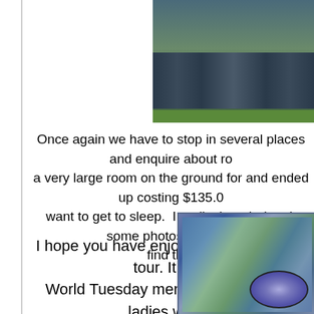[Figure (photo): A parking lot scene with multiple cars parked in a row, green trees and sky in background]
Once again we have to stop in several places and enquire about ro a very large room on the ground for and ended up costing $135.0 want to get to sleep.  I really thought I took some photos of the ro find ther
I hope you have enjoyed this part of the tour. It is m World Tuesday meme.  Thank you to ladies who a meme, My World Tuesday. God rest his soul. Plea Tuesda
[Figure (photo): A creative photo showing a world map reflected or painted on a human eye with blue and green colors, suggesting global vision theme]